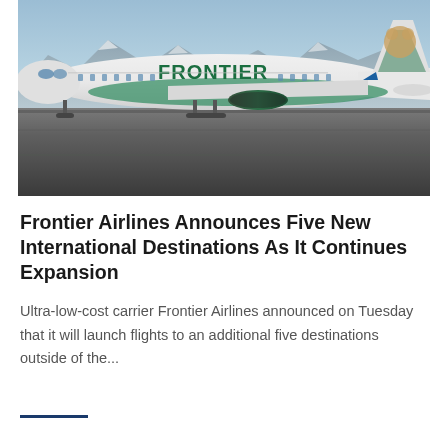[Figure (photo): Frontier Airlines aircraft (white with green FRONTIER lettering and animal tail livery) taxiing on a runway with mountains and blue sky in background]
Frontier Airlines Announces Five New International Destinations As It Continues Expansion
Ultra-low-cost carrier Frontier Airlines announced on Tuesday that it will launch flights to an additional five destinations outside of the...